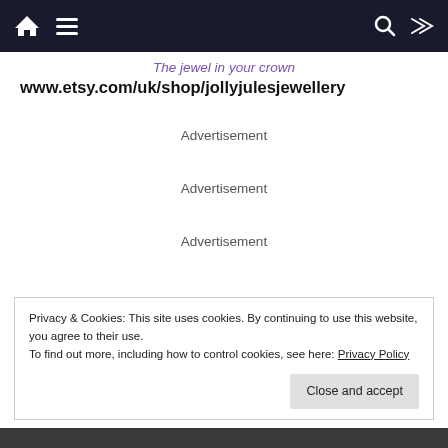navigation bar with home, menu, search, shuffle icons
The jewel in your crown
www.etsy.com/uk/shop/jollyjulesjewellery
Advertisement
Advertisement
Advertisement
Privacy & Cookies: This site uses cookies. By continuing to use this website, you agree to their use.
To find out more, including how to control cookies, see here: Privacy Policy
Close and accept